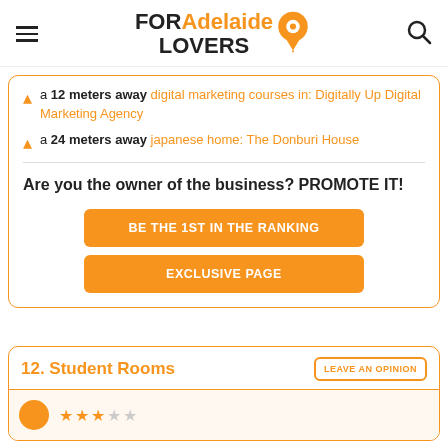FOR Adelaide LOVERS
a 12 meters away digital marketing courses in: Digitally Up Digital Marketing Agency
a 24 meters away japanese home: The Donburi House
Are you the owner of the business? PROMOTE IT!
BE THE 1ST IN THE RANKING
EXCLUSIVE PAGE
12. Student Rooms
LEAVE AN OPINION